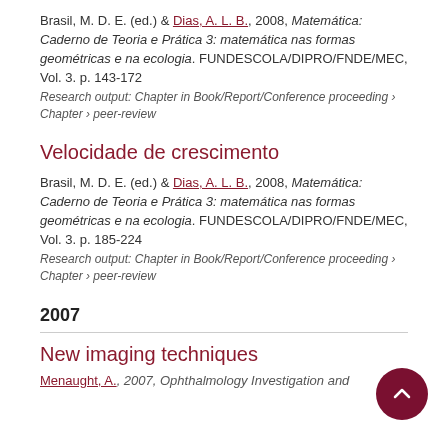Brasil, M. D. E. (ed.) & Dias, A. L. B., 2008, Matemática: Caderno de Teoria e Prática 3: matemática nas formas geométricas e na ecologia. FUNDESCOLA/DIPRO/FNDE/MEC, Vol. 3. p. 143-172
Research output: Chapter in Book/Report/Conference proceeding › Chapter › peer-review
Velocidade de crescimento
Brasil, M. D. E. (ed.) & Dias, A. L. B., 2008, Matemática: Caderno de Teoria e Prática 3: matemática nas formas geométricas e na ecologia. FUNDESCOLA/DIPRO/FNDE/MEC, Vol. 3. p. 185-224
Research output: Chapter in Book/Report/Conference proceeding › Chapter › peer-review
2007
New imaging techniques
Menaught, A., 2007, Ophthalmology Investigation and...